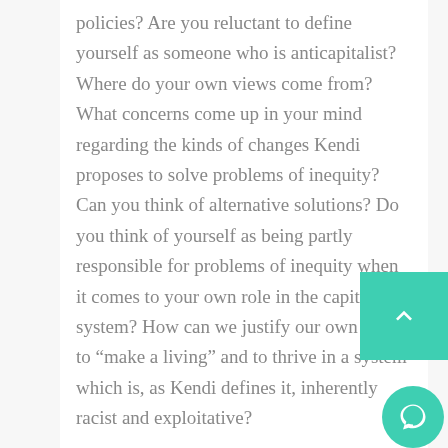policies? Are you reluctant to define yourself as someone who is anticapitalist? Where do your own views come from? What concerns come up in your mind regarding the kinds of changes Kendi proposes to solve problems of inequity? Can you think of alternative solutions? Do you think of yourself as being partly responsible for problems of inequity when it comes to your own role in the capitalist system? How can we justify our own needs to “make a living” and to thrive in a system which is, as Kendi defines it, inherently racist and exploitative?
At the end of the chapter, Kendi rejects the claim that the Black middle class